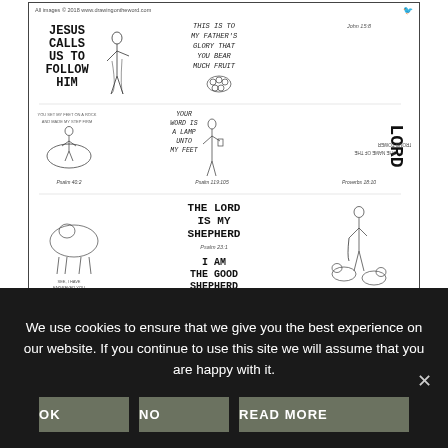[Figure (illustration): A coloring/illustration sheet with multiple religious drawings and scripture verses. Shows Jesus calling followers, a figure with a lamp, a shepherd, and various Bible verses including John 15:8, Psalm 40:2, Psalm 119:105, Proverbs 18:10, Psalm 23:1. Title texts include 'JESUS CALLS US TO FOLLOW HIM', 'THIS IS TO MY FATHER'S GLORY THAT YOU BEAR MUCH FRUIT', 'YOUR WORD IS A LAMP UNTO MY FEET', 'THE NAME OF THE LORD IS A STRONG TOWER', 'THE LORD IS MY SHEPHERD', 'I AM THE GOOD SHEPHERD', 'SEE, I HAVE ENGRAVED YOU...'. Copyright: All images © 2018 www.drawingontheword.com]
We use cookies to ensure that we give you the best experience on our website. If you continue to use this site we will assume that you are happy with it.
OK
NO
READ MORE